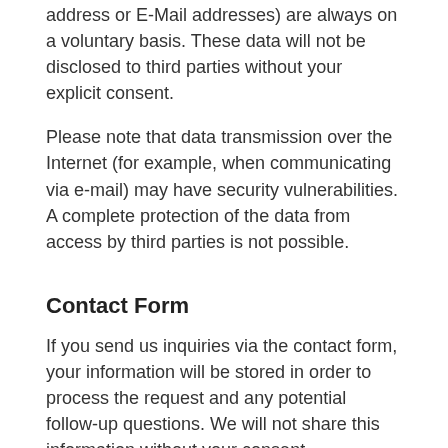address or E-Mail addresses) are always on a voluntary basis. These data will not be disclosed to third parties without your explicit consent.
Please note that data transmission over the Internet (for example, when communicating via e-mail) may have security vulnerabilities. A complete protection of the data from access by third parties is not possible.
Contact Form
If you send us inquiries via the contact form, your information will be stored in order to process the request and any potential follow-up questions. We will not share this information without your consent.
Matomo
This website uses the open source web analytics service Matomo. Matomo uses so-called « cookies ». These are text files that are stored on your computer and that allow an analysis of